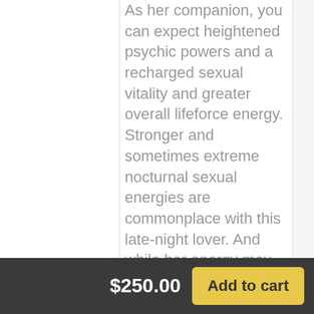As her companion, you can expect heightened psychic powers and a recharged sexual vitality and greater overall lifeforce energy. Stronger and sometimes extreme nocturnal sexual energies are commonplace with this late-night lover. And while her energy may prove a bit draining at first, you'll soon discover your own sexual vitality steadily improving in response to hers. In addition, her nocturnal sexual energy will send you soaring to new heights of wicked delight...night after night.
$250.00  Add to cart